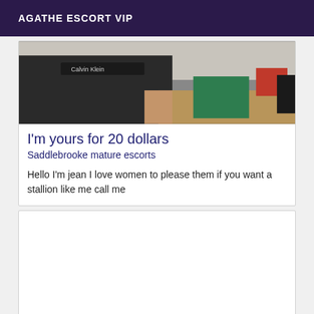AGATHE ESCORT VIP
[Figure (photo): A person wearing a black Calvin Klein shirt, seated or leaning near a wooden desk with green and red items visible in the background.]
I'm yours for 20 dollars
Saddlebrooke mature escorts
Hello I'm jean I love women to please them if you want a stallion like me call me